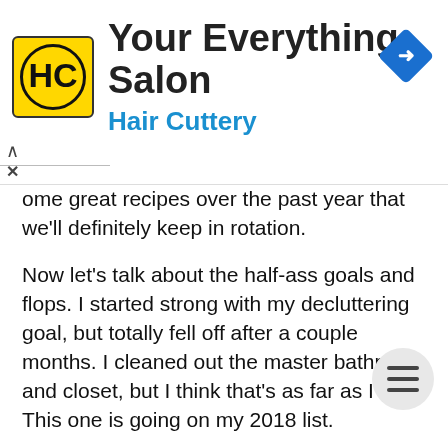[Figure (logo): Hair Cuttery advertisement banner with yellow HC logo, salon name 'Your Everything Salon', subtitle 'Hair Cuttery', and a blue diamond navigation icon]
ome great recipes over the past year that we'll definitely keep in rotation.
Now let's talk about the half-ass goals and flops. I started strong with my decluttering goal, but totally fell off after a couple months. I cleaned out the master bathroom and closet, but I think that's as far as I got. This one is going on my 2018 list.
Also, half-assed in 2017 and carrying into 2018 is my goal to read more. Technically I did read more this year because I read 10 books in 2017 and only 7 in 2016, but my goal was 24 books. I think that might have been a little too lofty, but I definitely don't feel like I read enough this year in general, so I can't use that as an excuse.